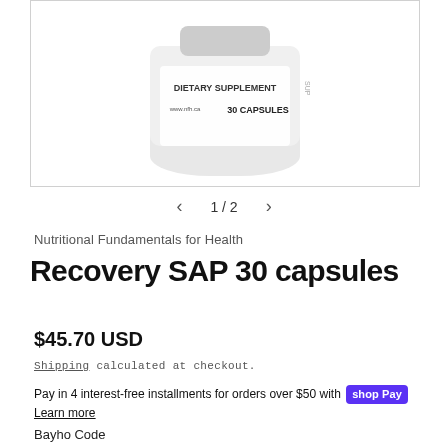[Figure (photo): White supplement bottle with label reading DIETARY SUPPLEMENT, www.nfh.ca, 30 CAPSULES]
1 / 2
Nutritional Fundamentals for Health
Recovery SAP 30 capsules
$45.70 USD
Shipping calculated at checkout.
Pay in 4 interest-free installments for orders over $50 with shop Pay
Learn more
Bayho Code